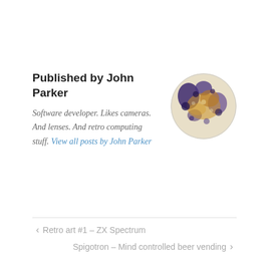Published by John Parker
Software developer. Likes cameras. And lenses. And retro computing stuff. View all posts by John Parker
[Figure (photo): Circular avatar photo of John Parker showing a mottled brown, gold and purple circular image resembling a stylized portrait]
< Retro art #1 – ZX Spectrum
Spigotron – Mind controlled beer vending >
Leave a Reply
Your email address will not be published. Required